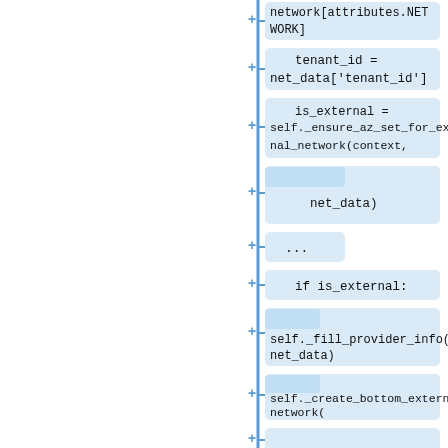[Figure (flowchart): A vertical flowchart/diff view showing Python code lines connected by a vertical blue line. Each line is a light-blue rounded rectangle with a '+' symbol on the left side connected to the vertical blue line. Lines shown: 'network[attributes.NETWORK]', 'tenant_id = net_data["tenant_id"]', 'is_external = self._ensure_az_set_for_external_network(context,', '[blank/highlight] net_data)', '...', 'if is_external:', '[blank/highlight] self._fill_provider_info(res, net_data)', '[blank/highlight] self._create_bottom_external_network(', 'context, net_data, res["id"])', '[partial visible last +]']